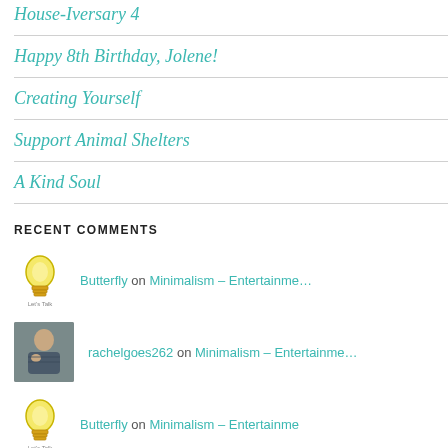House-Iversary 4
Happy 8th Birthday, Jolene!
Creating Yourself
Support Animal Shelters
A Kind Soul
RECENT COMMENTS
Butterfly on Minimalism – Entertainme…
rachelgoes262 on Minimalism – Entertainme…
Butterfly on Minimalism – Entertainme